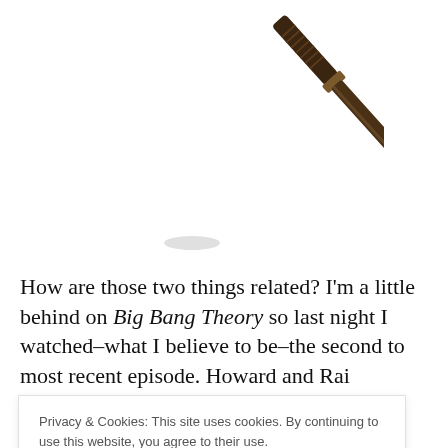[Figure (photo): A dark brown wooden magic wand photographed diagonally against a white background, pointing from upper right to lower left, with a decorative tip at the bottom.]
How are those two things related? I'm a little behind on Big Bang Theory so last night I watched–what I believe to be–the second to most recent episode. Howard and Rai
Privacy & Cookies: This site uses cookies. By continuing to use this website, you agree to their use.
To find out more, including how to control cookies, see here: Cookie Policy